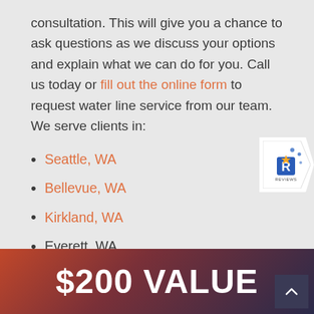consultation. This will give you a chance to ask questions as we discuss your options and explain what we can do for you. Call us today or fill out the online form to request water line service from our team. We serve clients in:
Seattle, WA
Bellevue, WA
Kirkland, WA
Everett, WA
Renton, WA
[Figure (logo): Reviews badge — arrow/chevron shape pointing right with blue R star logo and REVIEWS text]
$200 VALUE